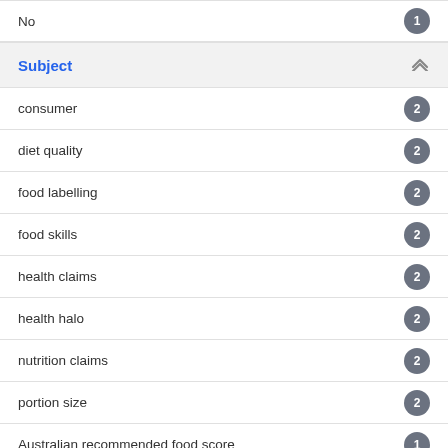No
Subject
consumer
diet quality
food labelling
food skills
health claims
health halo
nutrition claims
portion size
Australian recommended food score